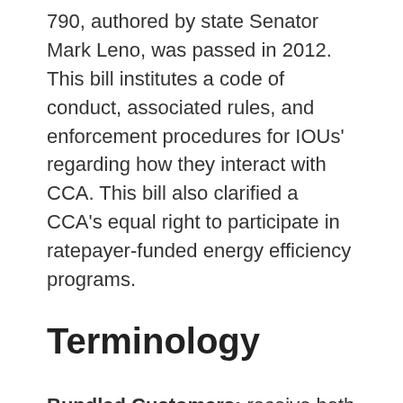790, authored by state Senator Mark Leno, was passed in 2012. This bill institutes a code of conduct, associated rules, and enforcement procedures for IOUs' regarding how they interact with CCA. This bill also clarified a CCA's equal right to participate in ratepayer-funded energy efficiency programs.
Terminology
Bundled Customers: receive both their electricity generation and distribution services from the same entity, typically the